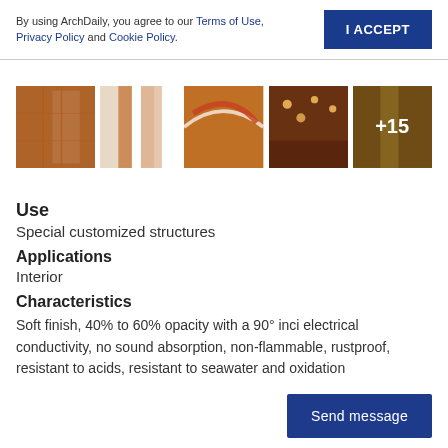By using ArchDaily, you agree to our Terms of Use, Privacy Policy and Cookie Policy.
I ACCEPT
[Figure (photo): Gallery of five architectural images showing copper/red mesh structures and installations. The last image shows '+15' overlay indicating more images.]
Use
Special customized structures
Applications
Interior
Characteristics
Soft finish, 40% to 60% opacity with a 90° inci electrical conductivity, no sound absorption, non-flammable, rustproof, resistant to acids, resistant to seawater and oxidation
Send message